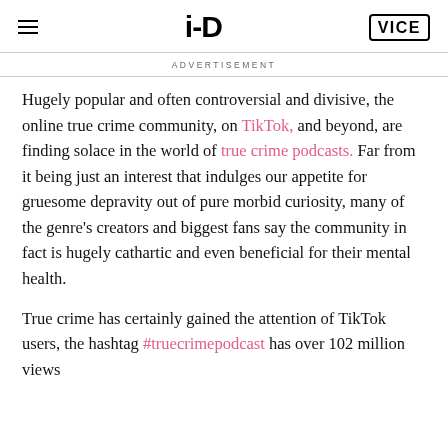i-D | VICE
ADVERTISEMENT
Hugely popular and often controversial and divisive, the online true crime community, on TikTok, and beyond, are finding solace in the world of true crime podcasts. Far from it being just an interest that indulges our appetite for gruesome depravity out of pure morbid curiosity, many of the genre's creators and biggest fans say the community in fact is hugely cathartic and even beneficial for their mental health.
True crime has certainly gained the attention of TikTok users, the hashtag #truecrimepodcast has over 102 million views